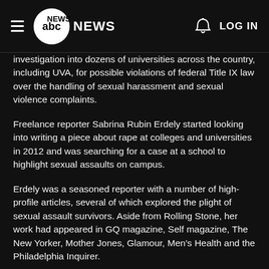ABC News — LOG IN
investigation into dozens of universities across the country, including UVA, for possible violations of federal Title IX law over the handling of sexual harassment and sexual violence complaints.
Freelance reporter Sabrina Rubin Erdely started looking into writing a piece about rape at colleges and universities in 2012 and was searching for a case at a school to highlight sexual assaults on campus.
Erdely was a seasoned reporter with a number of high-profile articles, several of which explored the plight of sexual assault survivors. Aside from Rolling Stone, her work had appeared in GQ magazine, Self magazine, The New Yorker, Mother Jones, Glamour, Men's Health and the Philadelphia Inquirer.